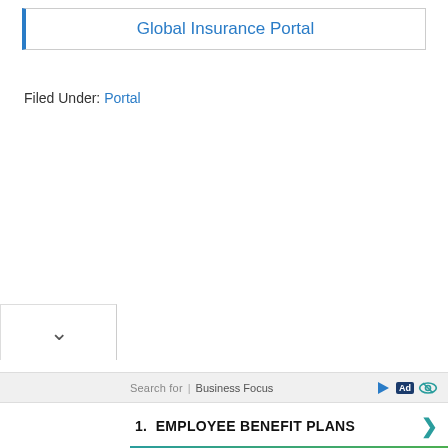Global Insurance Portal
Filed Under: Portal
Search for  |  Business Focus
1.  EMPLOYEE BENEFIT PLANS